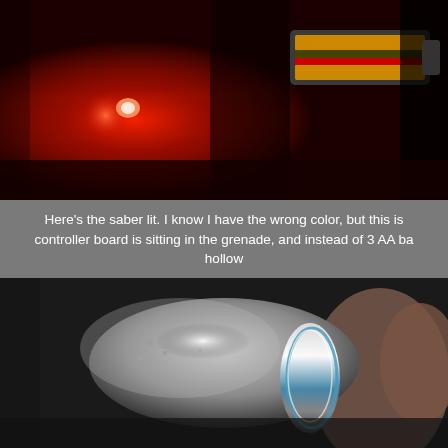[Figure (photo): Photo of a glowing red LED or light source next to an Energizer battery on a dark wooden surface, with red light illuminating the scene]
Here's the saber lit. I know I have the wrong color, but this is controller board is sitting in the grenade, and instead of 3 AA ba hollow
I have a good idea how to attach the emitter to the grenade s from Russ. Wiring will have to be changed out a bit to fit inside with those two wires not going through the ne
I have it worked out pretty much except for the pommel end, a
[Figure (photo): Close-up photo of a cylindrical metallic/grey object (lightsaber hilt or pommel component) with a shiny metallic ring or band, held in hand against dark background]